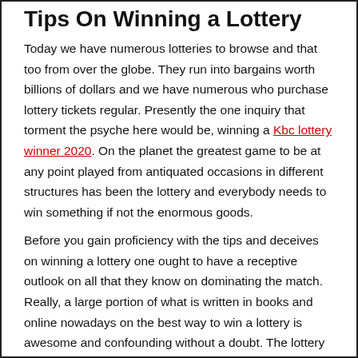Tips On Winning a Lottery
Today we have numerous lotteries to browse and that too from over the globe. They run into bargains worth billions of dollars and we have numerous who purchase lottery tickets regular. Presently the one inquiry that torment the psyche here would be, winning a Kbc lottery winner 2020. On the planet the greatest game to be at any point played from antiquated occasions in different structures has been the lottery and everybody needs to win something if not the enormous goods.
Before you gain proficiency with the tips and deceives on winning a lottery one ought to have a receptive outlook on all that they know on dominating the match. Really, a large portion of what is written in books and online nowadays on the best way to win a lottery is awesome and confounding without a doubt. The lottery proprietors would be told on which numbers are prized and which aren't. The greater part of the possessors are tattles and bits of gossip on the